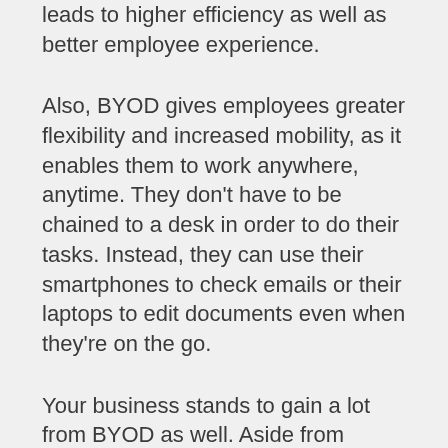leads to higher efficiency as well as better employee experience.
Also, BYOD gives employees greater flexibility and increased mobility, as it enables them to work anywhere, anytime. They don't have to be chained to a desk in order to do their tasks. Instead, they can use their smartphones to check emails or their laptops to edit documents even when they're on the go.
Your business stands to gain a lot from BYOD as well. Aside from enjoying enhanced employee productivity, you can reduce expenses related to owning computers and mobile devices, including maintenance and upgrades. The money you save can be put toward investments to further improve your bottom line.